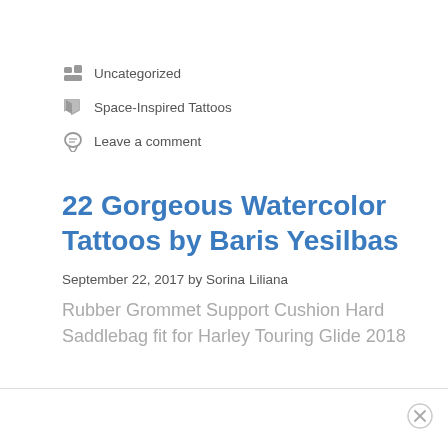Uncategorized
Space-Inspired Tattoos
Leave a comment
22 Gorgeous Watercolor Tattoos by Baris Yesilbas
September 22, 2017 by Sorina Liliana
Rubber Grommet Support Cushion Hard Saddlebag fit for Harley Touring Glide 2018